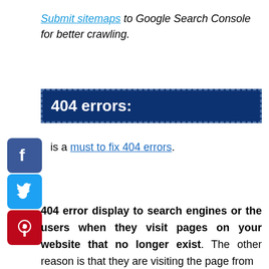Submit sitemaps to Google Search Console for better crawling.
404 errors:
is a must to fix 404 errors.
o one wants to visit pages that have nothing but 404 errors.
404 error display to search engines or the users when they visit pages on your website that no longer exist. The other reason is that they are visiting the page from